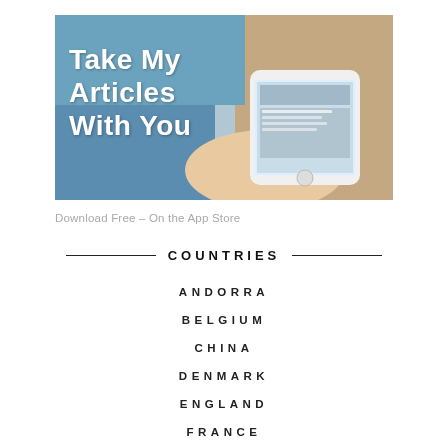[Figure (photo): A person holding a smartphone displaying an article/travel app. Bold white text overlay reads 'Take My Articles With You'. Background shows a hand and blue clothing.]
Download Free - On the App Store
COUNTRIES
ANDORRA
BELGIUM
CHINA
DENMARK
ENGLAND
FRANCE